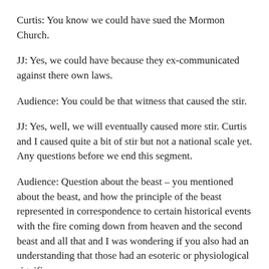Curtis: You know we could have sued the Mormon Church.
JJ: Yes, we could have because they ex-communicated against there own laws.
Audience: You could be that witness that caused the stir.
JJ: Yes, well, we will eventually caused more stir. Curtis and I caused quite a bit of stir but not a national scale yet. Any questions before we end this segment.
Audience: Question about the beast – you mentioned about the beast, and how the principle of the beast represented in correspondence to certain historical events with the fire coming down from heaven and the second beast and all that and I was wondering if you also had an understanding that those had an esoteric or physiological significance.